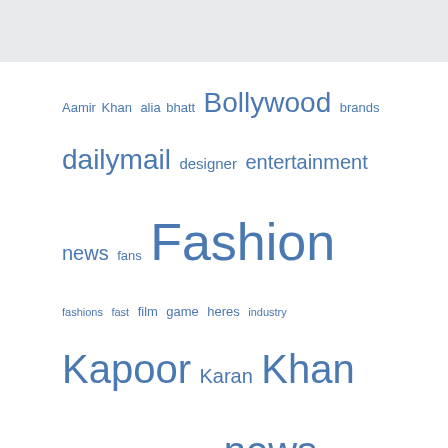[Figure (other): Top grey bar header area]
Aamir Khan  alia bhatt  Bollywood  brands  dailymail  designer  entertainment news  fans  Fashion  fashions  fast  film  game  heres  industry  Kapoor  Karan  Khan  latest  live  Love  music  news  people  pictures  Ranbir Kapoor  recipe  reveals  Review  season  shares  show  shows  Singh  style  summer  sustainable  tips  top  travel  trend  trends  tvshowbiz  week  WWD
© 2022 missthinkup.com • Built with GeneratePress
Manage consent